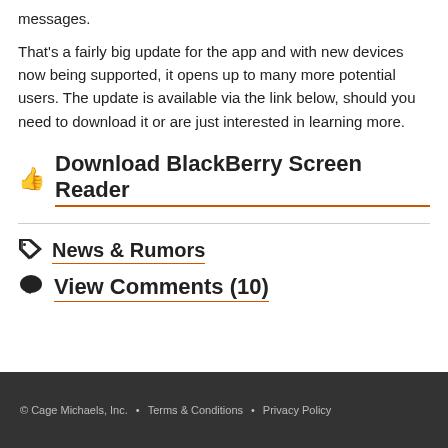messages.
That's a fairly big update for the app and with new devices now being supported, it opens up to many more potential users. The update is available via the link below, should you need to download it or are just interested in learning more.
Download BlackBerry Screen Reader
News & Rumors
View Comments (10)
© Cage Michaels, Inc.  •  Terms & Conditions  •  Privacy Policy